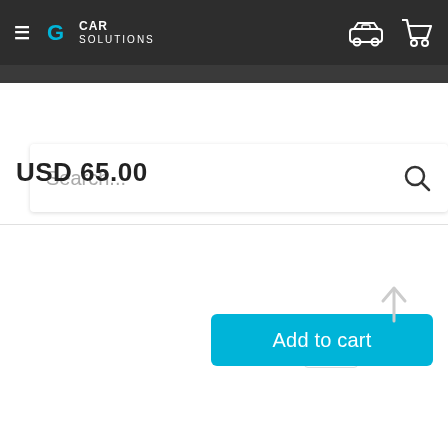[Figure (screenshot): Car Solutions e-commerce website navigation bar with hamburger menu, logo, car icon and shopping cart icon on dark background]
[Figure (screenshot): Search bar with placeholder text 'Search...' and magnifying glass icon]
USD 65.00
[Figure (screenshot): Add to cart button in cyan/blue color with heart/wishlist icon button]
[Figure (screenshot): Scroll to top arrow icon in light gray]